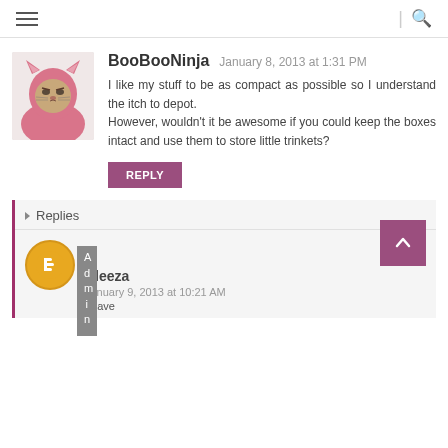Navigation header with hamburger menu and search icon
BooBooNinja   January 8, 2013 at 1:31 PM
I like my stuff to be as compact as possible so I understand the itch to depot.
However, wouldn't it be awesome if you could keep the boxes intact and use them to store little trinkets?
REPLY
▾ Replies
Aleeza   January 9, 2013 at 10:21 AM
have